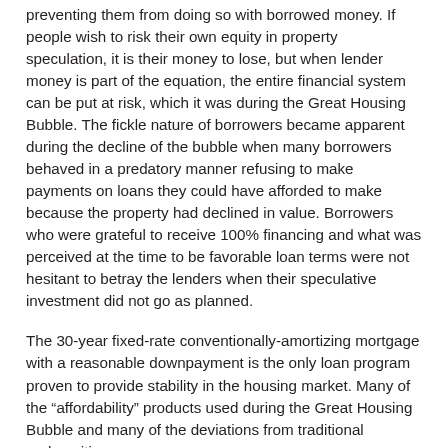preventing them from doing so with borrowed money. If people wish to risk their own equity in property speculation, it is their money to lose, but when lender money is part of the equation, the entire financial system can be put at risk, which it was during the Great Housing Bubble. The fickle nature of borrowers became apparent during the decline of the bubble when many borrowers behaved in a predatory manner refusing to make payments on loans they could have afforded to make because the property had declined in value. Borrowers who were grateful to receive 100% financing and what was perceived at the time to be favorable loan terms were not hesitant to betray the lenders when their speculative investment did not go as planned.
The 30-year fixed-rate conventionally-amortizing mortgage with a reasonable downpayment is the only loan program proven to provide stability in the housing market. Many of the “affordability” products used during the Great Housing Bubble and many of the deviations from traditional underwriting